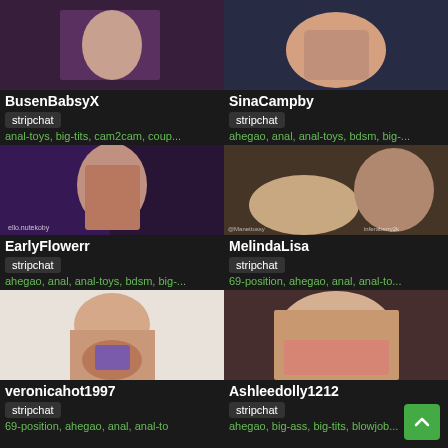[Figure (screenshot): Thumbnail image of BusenBabsyX]
BusenBabsyX
stripchat
anal-toys, big-tits, cam2cam, coup...
[Figure (screenshot): Thumbnail image of SinaCampby]
SinaCampby
stripchat
ahegao, anal, anal-toys, bdsm, big-...
[Figure (screenshot): Thumbnail image of EarlyFlowerr]
EarlyFlowerr
stripchat
ahegao, anal, anal-toys, bdsm, big-...
[Figure (screenshot): Thumbnail image of MelindaLisa]
MelindaLisa
stripchat
69-position, ahegao, anal, anal-to...
[Figure (screenshot): Thumbnail image of veronicahot1997]
veronicahot1997
stripchat
69-position, ahegao, anal, anal-to
[Figure (screenshot): Thumbnail image of Ashleedolly1212]
Ashleedolly1212
stripchat
ahegao, big-ass, big-tits, blowjob...